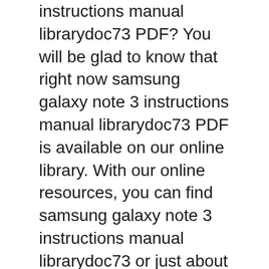instructions manual librarydoc73 PDF? You will be glad to know that right now samsung galaxy note 3 instructions manual librarydoc73 PDF is available on our online library. With our online resources, you can find samsung galaxy note 3 instructions manual librarydoc73 or just about any type of ebooks, for any type of product.
GetStarted 3 Activate Your Phone Follow these instructions to activate your phone. Depending on your account or how and where you purchased your phone, it may be ready to use or you may need to activate it on your Sprint account. samsung galaxy note 3 instructions manual librarydoc73 PDF?